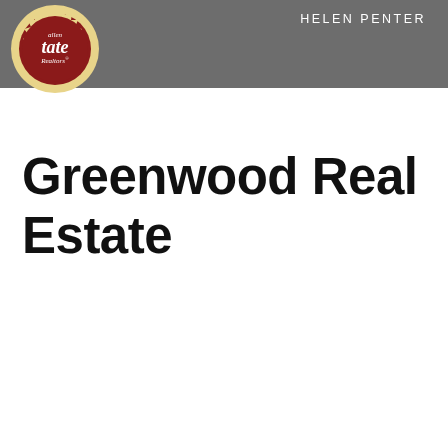[Figure (logo): Allen Tate Realtors circular logo with red badge and white text]
HELEN PENTER
Greenwood Real Estate